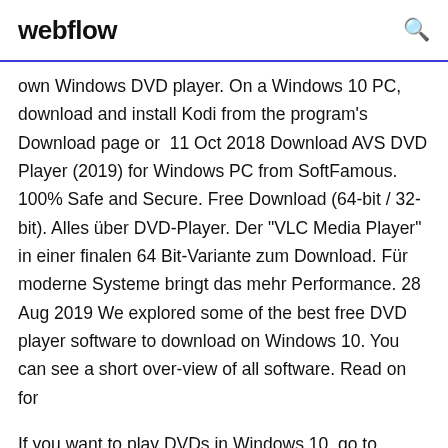webflow
own Windows DVD player. On a Windows 10 PC, download and install Kodi from the program's Download page or  11 Oct 2018 Download AVS DVD Player (2019) for Windows PC from SoftFamous. 100% Safe and Secure. Free Download (64-bit / 32-bit). Alles über DVD-Player. Der "VLC Media Player" in einer finalen 64 Bit-Variante zum Download. Für moderne Systeme bringt das mehr Performance. 28 Aug 2019 We explored some of the best free DVD player software to download on Windows 10. You can see a short over-view of all software. Read on for
If you want to play DVDs in Windows 10, go to